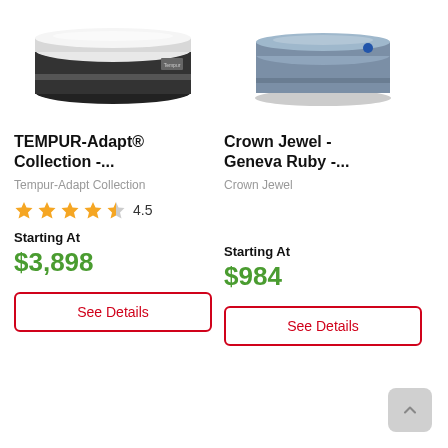[Figure (photo): TEMPUR-Adapt mattress product photo — white and dark grey layered mattress viewed at an angle]
[Figure (photo): Crown Jewel Geneva Ruby mattress product photo — grey patterned mattress viewed at an angle]
TEMPUR-Adapt® Collection -...
Crown Jewel - Geneva Ruby -...
Tempur-Adapt Collection
Crown Jewel
★★★★☆ 4.5
Starting At
$3,898
See Details
Starting At
$984
See Details